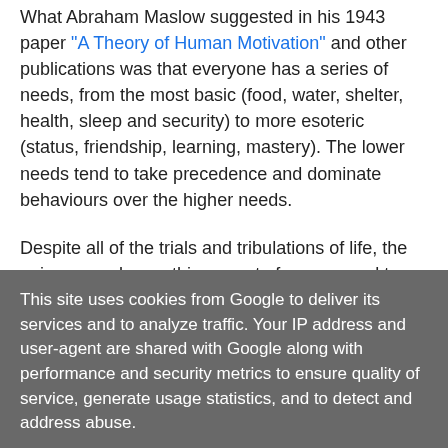What Abraham Maslow suggested in his 1943 paper "A Theory of Human Motivation" and other publications was that everyone has a series of needs, from the most basic (food, water, shelter, health, sleep and security) to more esoteric (status, friendship, learning, mastery). The lower needs tend to take precedence and dominate behaviours over the higher needs.
Despite all of the trials and tribulations of life, the universe and everything, most of us are used to existing fairly high on the pyramid - most of us have somewhere warm to
This site uses cookies from Google to deliver its services and to analyze traffic. Your IP address and user-agent are shared with Google along with performance and security metrics to ensure quality of service, generate usage statistics, and to detect and address abuse.
LEARN MORE   OK